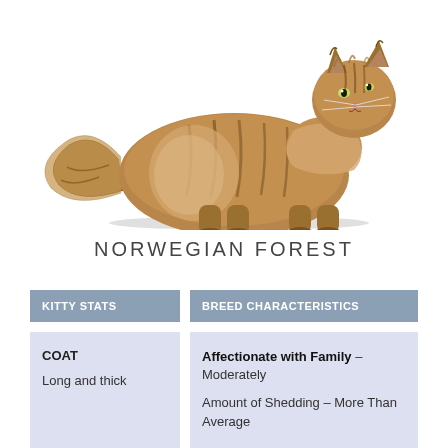[Figure (photo): Side profile photo of a Norwegian Forest Cat, a large fluffy tabby cat with long brown/black fur, standing and looking upward to the right, on a white background.]
NORWEGIAN FOREST
| KITTY STATS | BREED CHARACTERISTICS |
| --- | --- |
| COAT
Long and thick | Affectionate with Family – Moderately
Amount of Shedding – More Than Average |
COAT
Long and thick
Affectionate with Family – Moderately
Amount of Shedding – More Than Average